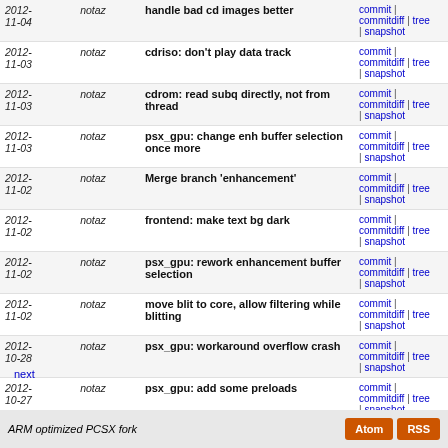| Date | Author | Message | Links |
| --- | --- | --- | --- |
| 2012-11-04 | notaz | handle bad cd images better | commit | commitdiff | tree | snapshot |
| 2012-11-03 | notaz | cdriso: don't play data track | commit | commitdiff | tree | snapshot |
| 2012-11-03 | notaz | cdrom: read subq directly, not from thread | commit | commitdiff | tree | snapshot |
| 2012-11-03 | notaz | psx_gpu: change enh buffer selection once more | commit | commitdiff | tree | snapshot |
| 2012-11-02 | notaz | Merge branch 'enhancement' | commit | commitdiff | tree | snapshot |
| 2012-11-02 | notaz | frontend: make text bg dark | commit | commitdiff | tree | snapshot |
| 2012-11-02 | notaz | psx_gpu: rework enhancement buffer selection | commit | commitdiff | tree | snapshot |
| 2012-11-02 | notaz | move blit to core, allow filtering while blitting | commit | commitdiff | tree | snapshot |
| 2012-10-28 | notaz | psx_gpu: workaround overflow crash | commit | commitdiff | tree | snapshot |
| 2012-10-27 | notaz | psx_gpu: add some preloads | commit | commitdiff | tree | snapshot |
| 2012-10-27 | notaz | psx_gpu: implement setup_sprite_untextured in asm | commit | commitdiff | tree | snapshot |
next
ARM optimized PCSX fork